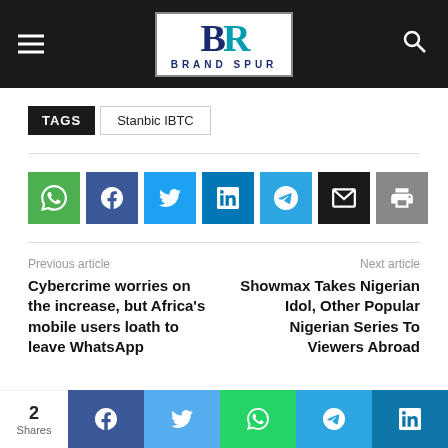Brand Spur
TAGS  Stanbic IBTC
[Figure (infographic): Social share buttons: WhatsApp, Facebook, Twitter, LinkedIn, Telegram, Email, Print]
Previous article
Cybercrime worries on the increase, but Africa's mobile users loath to leave WhatsApp
Next article
Showmax Takes Nigerian Idol, Other Popular Nigerian Series To Viewers Abroad
2 Shares — Facebook, Twitter, WhatsApp, Telegram, LinkedIn